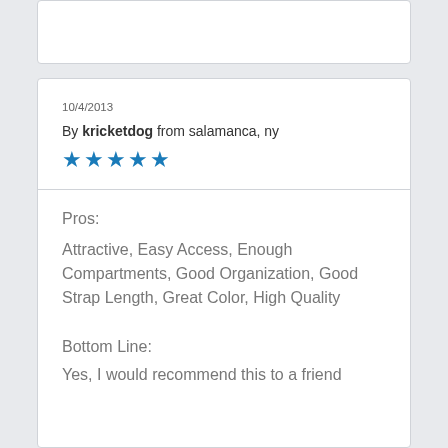10/4/2013
By kricketdog from salamanca, ny
[Figure (other): 5 blue star rating icons]
Pros:
Attractive, Easy Access, Enough Compartments, Good Organization, Good Strap Length, Great Color, High Quality
Bottom Line:
Yes, I would recommend this to a friend